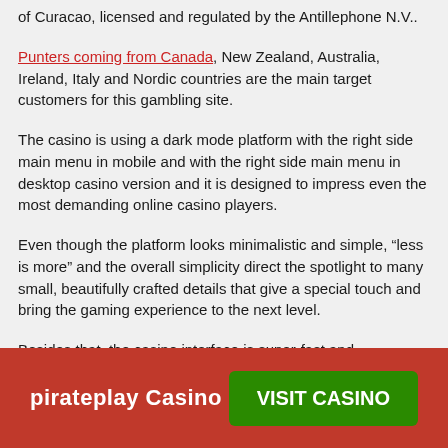of Curacao, licensed and regulated by the Antillephone N.V..
Punters coming from Canada, New Zealand, Australia, Ireland, Italy and Nordic countries are the main target customers for this gambling site.
The casino is using a dark mode platform with the right side main menu in mobile and with the right side main menu in desktop casino version and it is designed to impress even the most demanding online casino players.
Even though the platform looks minimalistic and simple, “less is more” and the overall simplicity direct the spotlight to many small, beautifully crafted details that give a special touch and bring the gaming experience to the next level.
Besides that, the casino interface is super-fast and responsive, the layout extremely user-friendly and finding the right games is very easy.
pirateplay Casino  VISIT CASINO